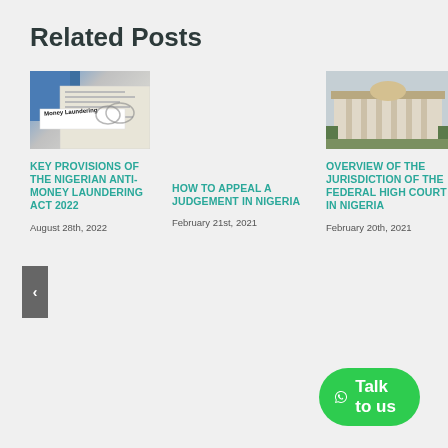Related Posts
[Figure (photo): Newspaper clipping showing 'Money Laundering' text with glasses]
KEY PROVISIONS OF THE NIGERIAN ANTI-MONEY LAUNDERING ACT 2022
August 28th, 2022
HOW TO APPEAL A JUDGEMENT IN NIGERIA
February 21st, 2021
[Figure (photo): Exterior photo of the Federal High Court building in Nigeria]
OVERVIEW OF THE JURISDICTION OF THE FEDERAL HIGH COURT IN NIGERIA
February 20th, 2021